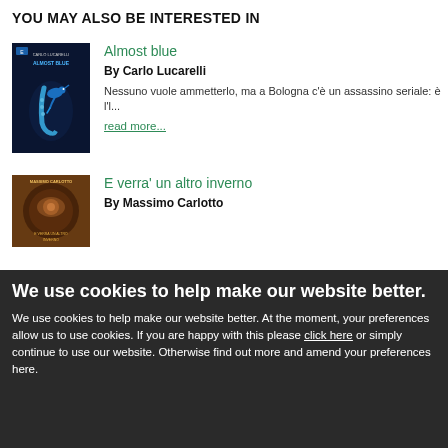YOU MAY ALSO BE INTERESTED IN
[Figure (illustration): Book cover for 'Almost Blue' by Carlo Lucarelli — dark navy background with a blue chameleon on a saxophone graphic]
Almost blue
By Carlo Lucarelli
Nessuno vuole ammetterlo, ma a Bologna c'è un assassino seriale: è l'l...
read more...
[Figure (illustration): Book cover for 'E verra' un altro inverno' by Massimo Carlotto — dark brown/gold background with a circular design]
E verra' un altro inverno
By Massimo Carlotto
We use cookies to help make our website better.
We use cookies to help make our website better. At the moment, your preferences allow us to use cookies. If you are happy with this please click here or simply continue to use our website. Otherwise find out more and amend your preferences here.